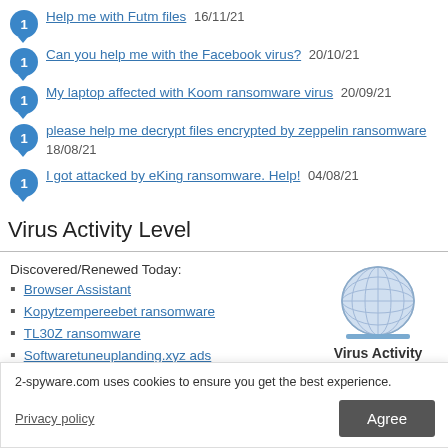Help me with Futm files 16/11/21
Can you help me with the Facebook virus? 20/10/21
My laptop affected with Koom ransomware virus 20/09/21
please help me decrypt files encrypted by zeppelin ransomware 18/08/21
I got attacked by eKing ransomware. Help! 04/08/21
Virus Activity Level
Discovered/Renewed Today:
Browser Assistant
Kopytzempereebet ransomware
TL30Z ransomware
Softwaretuneuplanding.xyz ads
[Figure (illustration): Globe icon representing Virus Activity widget showing date 2022-08-28 and level Low]
2-spyware.com uses cookies to ensure you get the best experience.
Privacy policy
Agree